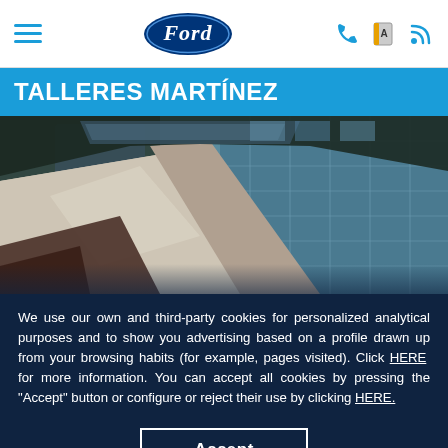Ford — Talleres Martínez navigation bar with hamburger menu, Ford oval logo, phone icon, map icon, RSS icon
TALLERES MARTÍNEZ
[Figure (photo): Car interior panoramic roof view looking up through a sunroof/panoramic glass roof, showing the beige/tan roof pillars and frame against a glass building exterior background with blue sky tones.]
We use our own and third-party cookies for personalized analytical purposes and to show you advertising based on a profile drawn up from your browsing habits (for example, pages visited). Click HERE for more information. You can accept all cookies by pressing the "Accept" button or configure or reject their use by clicking HERE.
Accept